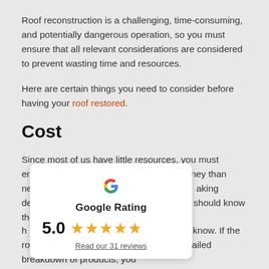Roof reconstruction is a challenging, time-consuming, and potentially dangerous operation, so you must ensure that all relevant considerations are considered to prevent wasting time and resources.
Here are certain things you need to consider before having your roof restored.
Cost
Since most of us have little resources, you must ensure that you are not wasting more money than necessary. Next, get your home t... aking decisions for what needs to b... ny should know the state of the r...
[Figure (other): Google Rating widget showing 5.0 stars with 'Read our 31 reviews' link]
h... our contractor know. If the roofing contractor provides you with a detailed breakdown of products, you